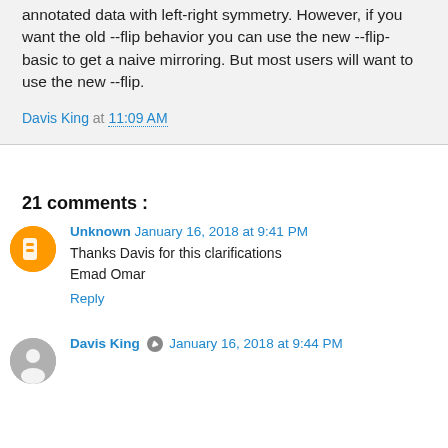annotated data with left-right symmetry. However, if you want the old --flip behavior you can use the new --flip-basic to get a naive mirroring. But most users will want to use the new --flip.
Davis King at 11:09 AM
21 comments :
Unknown January 16, 2018 at 9:41 PM
Thanks Davis for this clarifications
Emad Omar
Reply
Davis King January 16, 2018 at 9:44 PM